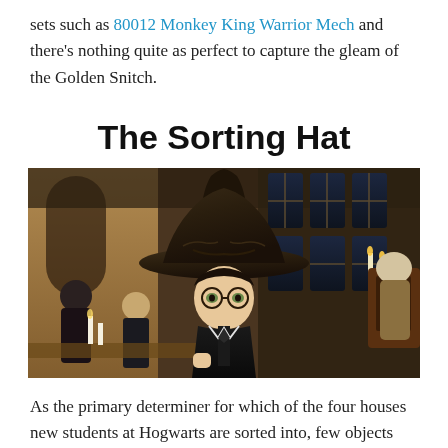sets such as 80012 Monkey King Warrior Mech and there's nothing quite as perfect to capture the gleam of the Golden Snitch.
The Sorting Hat
[Figure (photo): A young Harry Potter wearing the large Sorting Hat on his head, standing in the Great Hall of Hogwarts, with other students and Dumbledore visible in the background.]
As the primary determiner for which of the four houses new students at Hogwarts are sorted into, few objects are tied quite as close to the school as